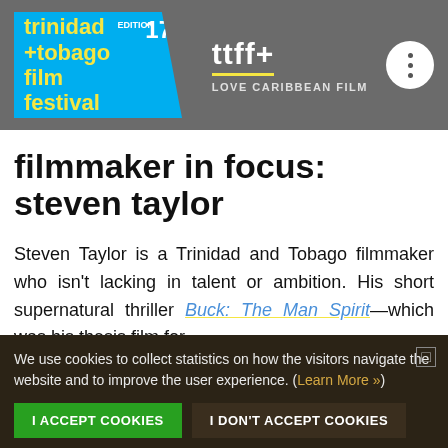[Figure (logo): Trinidad and Tobago Film Festival logo - cyan blue pentagon shape with yellow text 'trinidad +tobago film festival' and edition number 17, alongside ttff+ branding with 'LOVE CARIBBEAN FILM' tagline and a three-dot menu icon]
filmmaker in focus: steven taylor
Steven Taylor is a Trinidad and Tobago filmmaker who isn't lacking in talent or ambition. His short supernatural thriller Buck: The Man Spirit—which was his thesis film for
We use cookies to collect statistics on how the visitors navigate the website and to improve the user experience. (Learn More »)
I ACCEPT COOKIES   I DON'T ACCEPT COOKIES